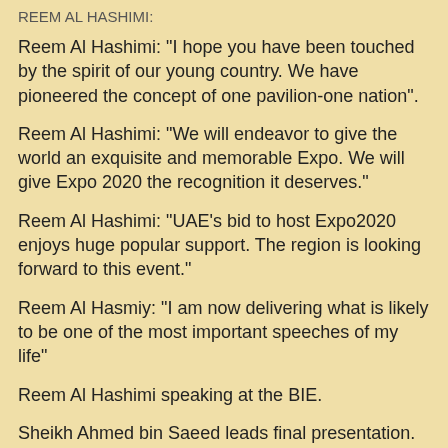REEM AL HASHIMI:
Reem Al Hashimi: "I hope you have been touched by the spirit of our young country. We have pioneered the concept of one pavilion-one nation".
Reem Al Hashimi: "We will endeavor to give the world an exquisite and memorable Expo. We will give Expo 2020 the recognition it deserves."
Reem Al Hashimi: "UAE's bid to host Expo2020 enjoys huge popular support. The region is looking forward to this event."
Reem Al Hasmiy: "I am now delivering what is likely to be one of the most important speeches of my life"
Reem Al Hashimi speaking at the BIE.
Sheikh Ahmed bin Saeed leads final presentation.
The voting process is limited to 165 countries after excluding South Sudan, Chad and Costa Rica.
15-minute delay is expected in presenting the bidding files for the remaining countries.